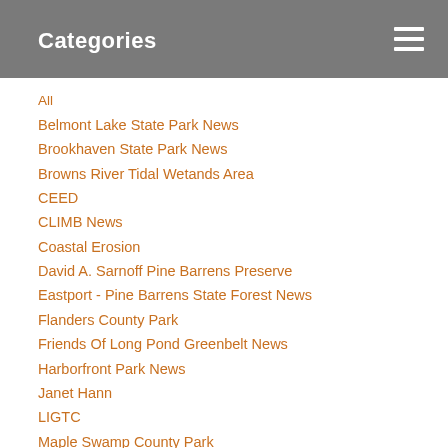Categories
All
Belmont Lake State Park News
Brookhaven State Park News
Browns River Tidal Wetands Area
CEED
CLIMB News
Coastal Erosion
David A. Sarnoff Pine Barrens Preserve
Eastport - Pine Barrens State Forest News
Flanders County Park
Friends Of Long Pond Greenbelt News
Harborfront Park News
Janet Hann
LIGTC
Maple Swamp County Park
Marine Debris
Mather Hospital - Northwell Health
Native Plants
North Fork
North Fork Deer Alliance
NYSDEC News
Open Space Preservation
Paumanok Path
Peconic River County Park - Robert Cushman Murphy County Park
Phil Benvin
Pine Barrens Trail Center